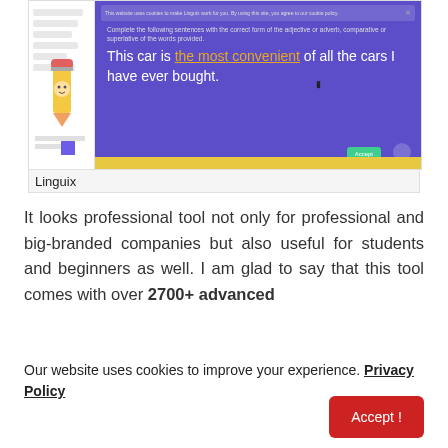[Figure (screenshot): Screenshot of Linguix language learning tool showing a fill-in-the-blank exercise on a purple background. The sentence reads: 'This car is the most convenient of all the cars I have ever bought.' with 'the most convenient' underlined in orange/gold. A sidebar with a pencil mascot is visible on the left. A cookie consent notice appears at the top of the screenshot.]
Linguix
It looks professional tool not only for professional and big-branded companies but also useful for students and beginners as well. I am glad to say that this tool comes with over 2700+ advanced
Our website uses cookies to improve your experience. Privacy Policy